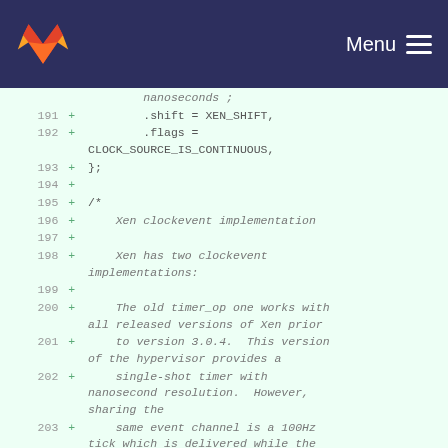GitLab — Menu
[Figure (screenshot): Code diff view showing lines 191-203 of a source file with added lines (marked with +) containing Xen clocksource and clockevent implementation code in C]
191 + .shift = XEN_SHIFT,
192 + .flags = CLOCK_SOURCE_IS_CONTINUOUS,
193 + };
194 +
195 + /*
196 + Xen clockevent implementation
197 +
198 + Xen has two clockevent implementations:
199 +
200 + The old timer_op one works with all released versions of Xen prior
201 + to version 3.0.4. This version of the hypervisor provides a
202 + single-shot timer with nanosecond resolution. However, sharing the
203 + same event channel is a 100Hz tick which is delivered while the